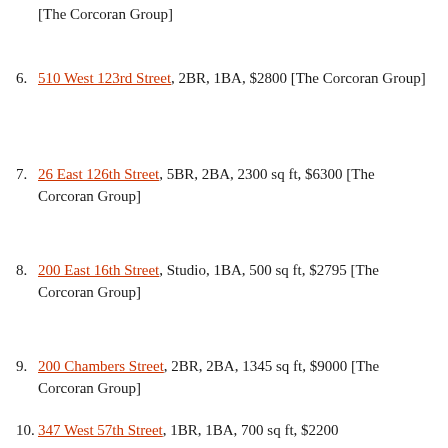[The Corcoran Group]
6. 510 West 123rd Street, 2BR, 1BA, $2800 [The Corcoran Group]
7. 26 East 126th Street, 5BR, 2BA, 2300 sq ft, $6300 [The Corcoran Group]
8. 200 East 16th Street, Studio, 1BA, 500 sq ft, $2795 [The Corcoran Group]
9. 200 Chambers Street, 2BR, 2BA, 1345 sq ft, $9000 [The Corcoran Group]
10. 347 West 57th Street, 1BR, 1BA, 700 sq ft, $2200